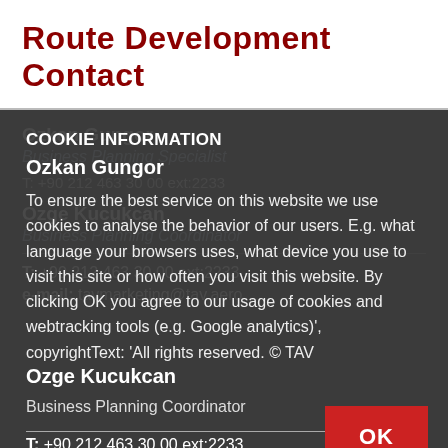Route Development Contact
Ozkan Gungor
Business Planning Specialist
T: +90 212 463 30 00 ext:2233
Ozge Kucukcan
Business Planning Coordinator
T: +90 212 463 30 00 ext:2233
e-mail: tavmarketing@tav.aero
COOKIE INFORMATION
To ensure the best service on this website we use cookies to analyse the behavior of our users. E.g. what language your browsers uses, what device you use to visit this site or how often you visit this website. By clicking OK you agree to our usage of cookies and webtracking tools (e.g. Google analytics)', copyrightText: 'All rights reserved. © TAV Technologies'